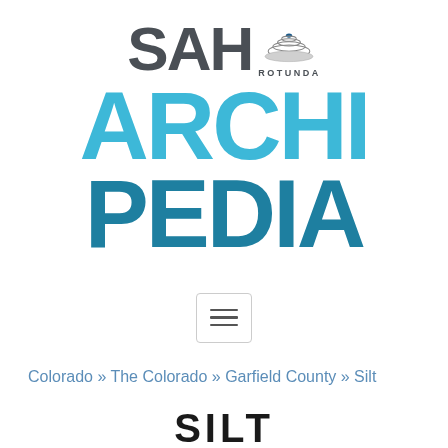[Figure (logo): SAH Archipedia logo with rotunda icon — 'SAH' in dark gray bold letters, rotunda dome SVG icon with 'ROTUNDA' text, 'ARCHI' in light blue bold, 'PEDIA' in darker blue bold]
[Figure (other): Hamburger menu button — three horizontal lines inside a rounded rectangle border]
Colorado » The Colorado » Garfield County » Silt
SILT